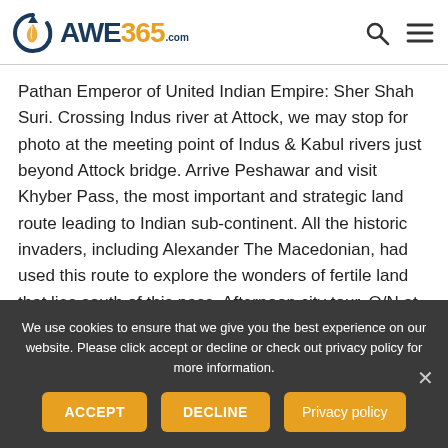AWE365.com
Pathan Emperor of United Indian Empire: Sher Shah Suri. Crossing Indus river at Attock, we may stop for photo at the meeting point of Indus & Kabul rivers just beyond Attock bridge. Arrive Peshawar and visit Khyber Pass, the most important and strategic land route leading to Indian sub-continent. All the historic invaders, including Alexander The Macedonian, had used this route to explore the wonders of fertile land that lies south of this pass. Afternoon city tour. O/N at hotel.
We use cookies to ensure that we give you the best experience on our website. Please click accept or decline or check out privacy policy for more information.
ACCEPT
DECLINE
Privacy policy